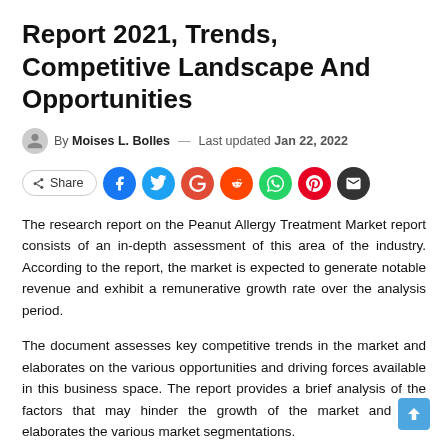Report 2021, Trends, Competitive Landscape And Opportunities
By Moises L. Bolles — Last updated Jan 22, 2022
[Figure (other): Social share buttons: Share, Facebook, Twitter, Google+, Reddit, WhatsApp, Pinterest, Email]
The research report on the Peanut Allergy Treatment Market report consists of an in-depth assessment of this area of the industry. According to the report, the market is expected to generate notable revenue and exhibit a remunerative growth rate over the analysis period.
The document assesses key competitive trends in the market and elaborates on the various opportunities and driving forces available in this business space. The report provides a brief analysis of the factors that may hinder the growth of the market and also elaborates the various market segmentations.